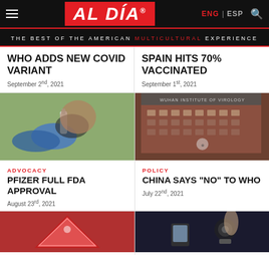AL DÍA — THE BEST OF THE AMERICAN MULTICULTURAL EXPERIENCE
WHO ADDS NEW COVID VARIANT
September 2nd, 2021
SPAIN HITS 70% VACCINATED
September 1st, 2021
[Figure (photo): Person in mask and blue gloves handling a vaccine vial]
ADVOCACY
PFIZER FULL FDA APPROVAL
August 23rd, 2021
[Figure (photo): Wuhan Institute of Virology building exterior]
POLICY
CHINA SAYS "NO" TO WHO
July 22nd, 2021
[Figure (photo): Red molecular/virus illustration]
[Figure (photo): Dark scene with person holding phone/camera]